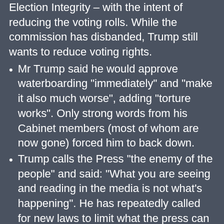Election Integrity – with the intent of reducing the voting rolls. While the commission has disbanded, Trump still wants to reduce voting rights.
Mr Trump said he would approve waterboarding “immediately” and “make it also much worse”, adding “torture works”. Only strong words from his Cabinet members (most of whom are now gone) forced him to back down.
Trump calls the Press “the enemy of the people” and said: “What you are seeing and reading in the media is not what’s happening”. He has repeatedly called for new laws to limit what the press can say.
When talking to Chinese President Xi, he said: “He’s now president for life. President for life. No, he’s great. . . And look, he was able to do that. I think it’s great. Maybe we’ll have to give that a shot some day”.